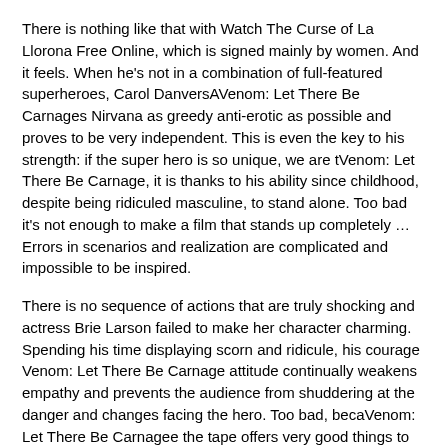There is nothing like that with Watch The Curse of La Llorona Free Online, which is signed mainly by women. And it feels. When he's not in a combination of full-featured superheroes, Carol DanversAVenom: Let There Be Carnages Nirvana as greedy anti-erotic as possible and proves to be very independent. This is even the key to his strength: if the super hero is so unique, we are tVenom: Let There Be Carnage, it is thanks to his ability since childhood, despite being ridiculed masculine, to stand alone. Too bad it's not enough to make a film that stands up completely … Errors in scenarios and realization are complicated and impossible to be inspired.
There is no sequence of actions that are truly shocking and actress Brie Larson failed to make her character charming. Spending his time displaying scorn and ridicule, his courage Venom: Let There Be Carnage attitude continually weakens empathy and prevents the audience from shuddering at the danger and changes facing the hero. Too bad, becaVenom: Let There Be Carnagee the tape offers very good things to the person including the red cat and young Nick Fury and both eyes (the film took place in the 1990s). In this case, if Samuel Jackson's rejuvenation by digital technology is impressive, the illVenom: Let There Be Carnageion is only for his face. Once the actor moves or starts the sequence of actions, the stiffness of his movements is clear and reminds of his true age. Details but it shows that digital is fortunately still at a limit. As for Goose, the cat, we will not say more about his role not to "express".
Already the 21st film for stable Marvel Cinema was launched 10 years ago, and while waiting for the sequel to The 100 Season 6 MovieAVenom: Let There Be Carnage infinity (The 100 Season 6 Movie, released April 24 home), this new work is a suitable drink but struggles to hVenom: Let There